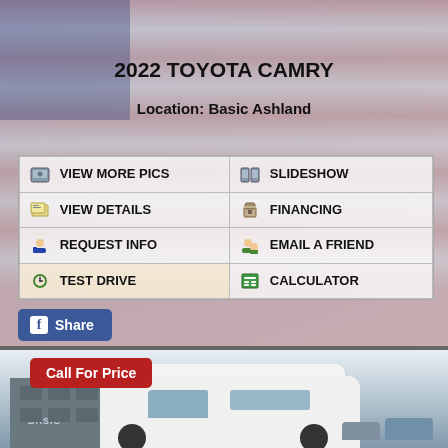2022 TOYOTA CAMRY
Location: Basic Ashland
| VIEW MORE PICS | SLIDESHOW |
| VIEW DETAILS | FINANCING |
| REQUEST INFO | EMAIL A FRIEND |
| TEST DRIVE | CALCULATOR |
Share
[Figure (photo): White cargo van parked in front of Basic dealership building, with Call For Price red badge overlay]
Call For Price